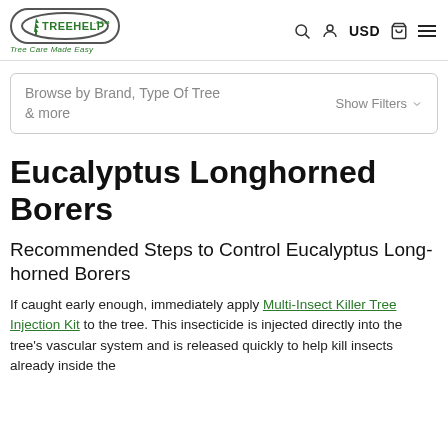TREEHELP.COM — Tree Care Made Easy | USD
Browse by Brand, Type Of Tree & more   Show Filters
Eucalyptus Longhorned Borers
Recommended Steps to Control Eucalyptus Long-horned Borers
If caught early enough, immediately apply Multi-Insect Killer Tree Injection Kit to the tree. This insecticide is injected directly into the tree's vascular system and is released quickly to help kill insects already inside the